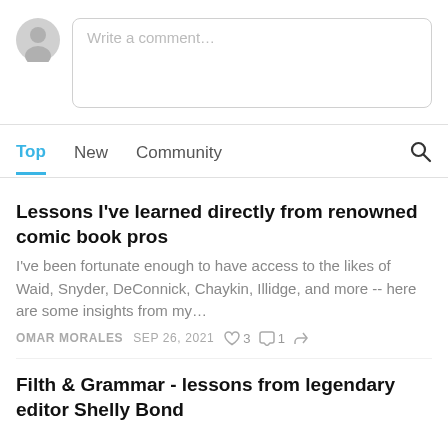[Figure (other): Gray avatar circle placeholder icon for comment author]
Write a comment…
Top  New  Community
Lessons I've learned directly from renowned comic book pros
I've been fortunate enough to have access to the likes of Waid, Snyder, DeConnick, Chaykin, Illidge, and more -- here are some insights from my…
OMAR MORALES  SEP 26, 2021  ♡ 3  ○ 1  ↗
Filth & Grammar - lessons from legendary editor Shelly Bond